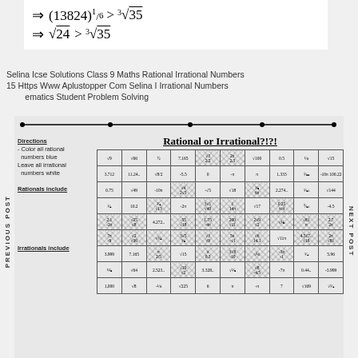Selina Icse Solutions Class 9 Maths Rational Irrational Numbers 15 Https Www Aplustopper Com Selina I Irrational Numbers ematics Student Problem Solving
[Figure (illustration): Worksheet titled 'Rational or Irrational?!?!' with a number line, directions, and a grid of numbers to classify as rational or irrational. Sidebar labels: PREVIOUS POST and NEXT POST.]